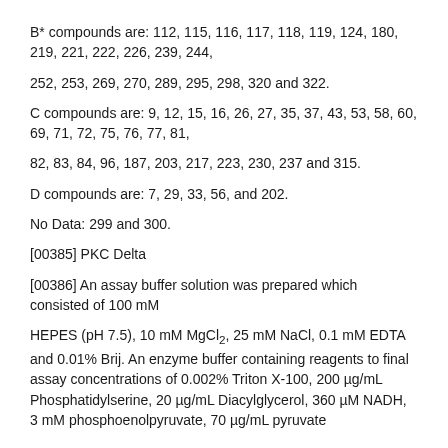B* compounds are: 112, 115, 116, 117, 118, 119, 124, 180, 219, 221, 222, 226, 239, 244,
252, 253, 269, 270, 289, 295, 298, 320 and 322.
C compounds are: 9, 12, 15, 16, 26, 27, 35, 37, 43, 53, 58, 60, 69, 71, 72, 75, 76, 77, 81,
82, 83, 84, 96, 187, 203, 217, 223, 230, 237 and 315.
D compounds are: 7, 29, 33, 56, and 202.
No Data: 299 and 300.
[00385] PKC Delta
[00386] An assay buffer solution was prepared which consisted of 100 mM
HEPES (pH 7.5), 10 mM MgCl2, 25 mM NaCl, 0.1 mM EDTA and 0.01% Brij. An enzyme buffer containing reagents to final assay concentrations of 0.002% Triton X-100, 200 µg/mL Phosphatidylserine, 20 µg/mL Diacylglycerol, 360 µM NADH, 3 mM phosphoenolpyruvate, 70 µg/mL pyruvate kinase, 20 µg/mL lactate dehydrogenase, 2 mM DTT, 150